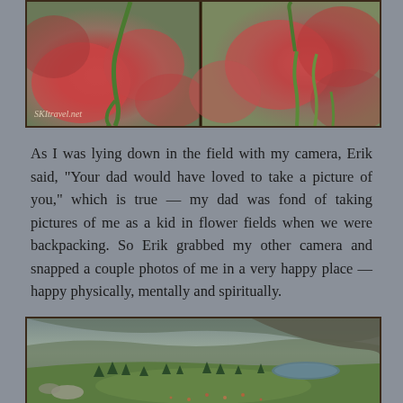[Figure (photo): Close-up macro photograph of red/pink flower with green stem against blurred background, split into two panels side by side. Watermark reads 'SKItravel.net']
As I was lying down in the field with my camera, Erik said, "Your dad would have loved to take a picture of you," which is true — my dad was fond of taking pictures of me as a kid in flower fields when we were backpacking. So Erik grabbed my other camera and snapped a couple photos of me in a very happy place — happy physically, mentally and spiritually.
[Figure (photo): Landscape photograph of a mountain alpine meadow with green grass, scattered evergreen trees, rocky hillsides, and a small alpine lake in the background. Wildflowers visible in foreground.]